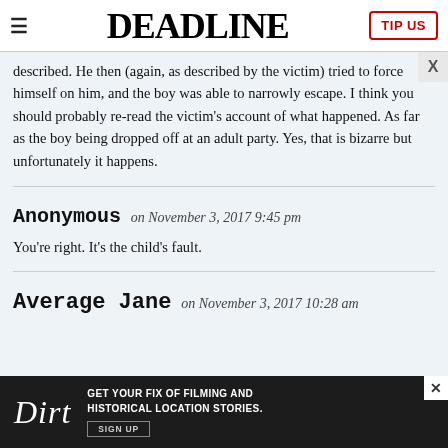DEADLINE
described. He then (again, as described by the victim) tried to force himself on him, and the boy was able to narrowly escape. I think you should probably re-read the victim’s account of what happened. As far as the boy being dropped off at an adult party. Yes, that is bizarre but unfortunately it happens.
Anonymous on November 3, 2017 9:45 pm
You’re right. It’s the child’s fault.
Average Jane on November 3, 2017 10:28 am
[Figure (screenshot): Advertisement banner for Dirt website: 'Get your fix of filming and historical location stories. Sign Up']